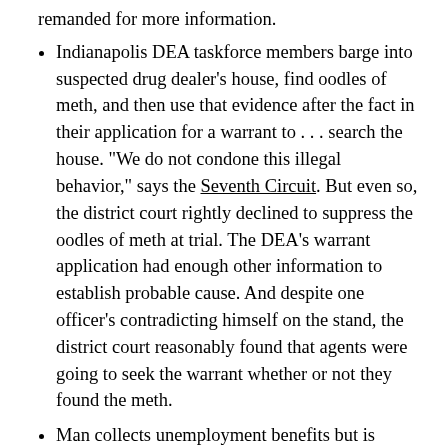remanded for more information.
Indianapolis DEA taskforce members barge into suspected drug dealer's house, find oodles of meth, and then use that evidence after the fact in their application for a warrant to . . . search the house. "We do not condone this illegal behavior," says the Seventh Circuit. But even so, the district court rightly declined to suppress the oodles of meth at trial. The DEA's warrant application had enough other information to establish probable cause. And despite one officer's contradicting himself on the stand, the district court reasonably found that agents were going to seek the warrant whether or not they found the meth.
Man collects unemployment benefits but is actually still working. Fraud! He's sentenced to probation but could have served a max of five years. Seventh Circuit: It does not violate the Second Amendment to prohibit him from possessing guns. His crime may not have been violent,